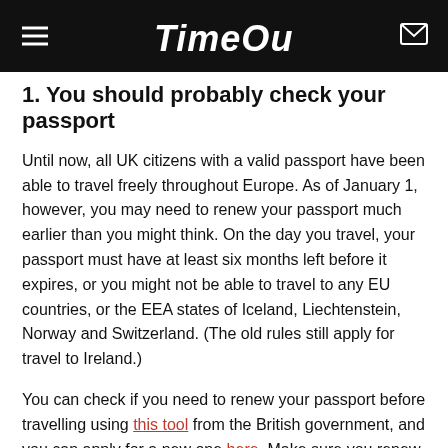Time Out
1. You should probably check your passport
Until now, all UK citizens with a valid passport have been able to travel freely throughout Europe. As of January 1, however, you may need to renew your passport much earlier than you might think. On the day you travel, your passport must have at least six months left before it expires, or you might not be able to travel to any EU countries, or the EEA states of Iceland, Liechtenstein, Norway and Switzerland. (The old rules still apply for travel to Ireland.)
You can check if you need to renew your passport before travelling using this tool from the British government, and you can apply for a new one here. Make sure you renew it at least a couple of months before you're planning to travel,